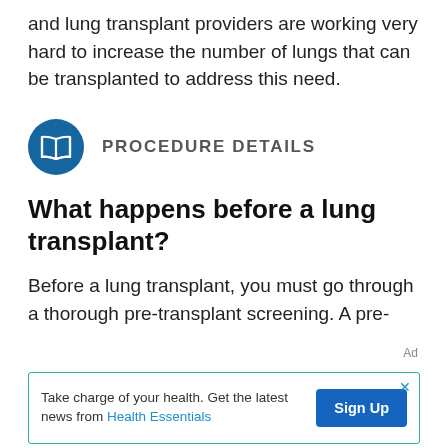and lung transplant providers are working very hard to increase the number of lungs that can be transplanted to address this need.
[Figure (illustration): Blue circular icon with open book symbol representing Procedure Details section]
PROCEDURE DETAILS
What happens before a lung transplant?
Before a lung transplant, you must go through a thorough pre-transplant screening. A pre-
Ad
Take charge of your health. Get the latest news from Health Essentials  Sign Up